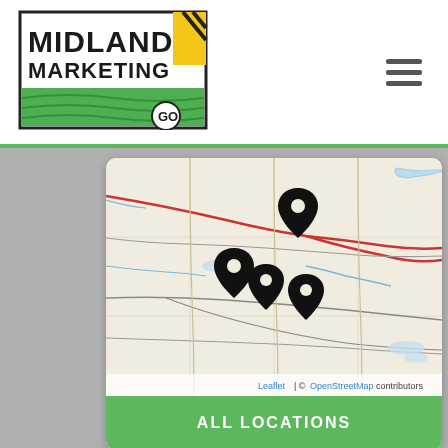[Figure (logo): Midland Marketing logo with yellow and green field imagery and GO text]
[Figure (map): OpenStreetMap map showing a rural US region (likely Nebraska/Kansas area) with 4 location pin markers, light beige background with road and river lines]
Leaflet | © OpenStreetMap contributors
ALL LOCATIONS